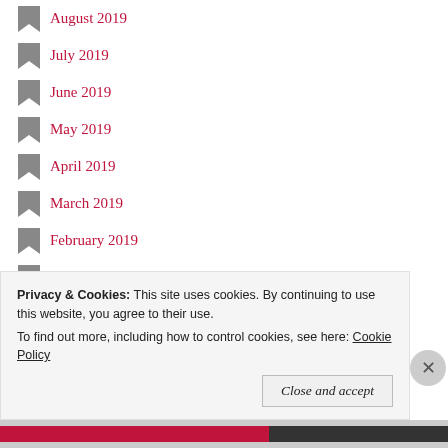August 2019
July 2019
June 2019
May 2019
April 2019
March 2019
February 2019
January 2019
December 2018
November 2018
October 2018
September 2018
August 2018
Privacy & Cookies: This site uses cookies. By continuing to use this website, you agree to their use. To find out more, including how to control cookies, see here: Cookie Policy
Close and accept